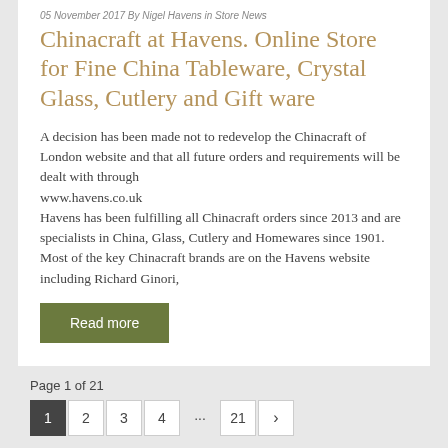05 November 2017 By Nigel Havens in Store News
Chinacraft at Havens. Online Store for Fine China Tableware, Crystal Glass, Cutlery and Gift ware
A decision has been made not to redevelop the Chinacraft of London website and that all future orders and requirements will be dealt with through
www.havens.co.uk
Havens has been fulfilling all Chinacraft orders since 2013 and are specialists in China, Glass, Cutlery and Homewares since 1901.
Most of the key Chinacraft brands are on the Havens website including Richard Ginori,
Read more
[mashshare]
Page 1 of 21